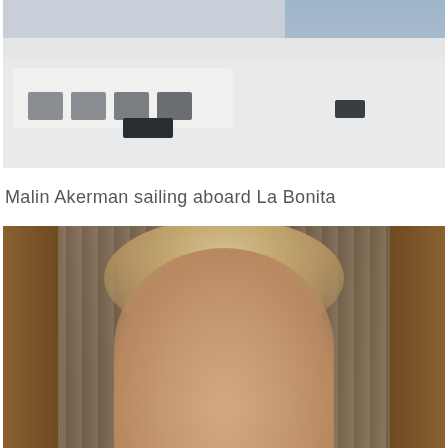[Figure (photo): Malin Akerman standing on the deck of a luxury white motor yacht named La Bonita, with ocean visible in the background]
Malin Akerman sailing aboard La Bonita
[Figure (photo): Woman (Malin Akerman) photographed in front of a wooden wine cellar shelf stocked with bottles, looking toward the camera]